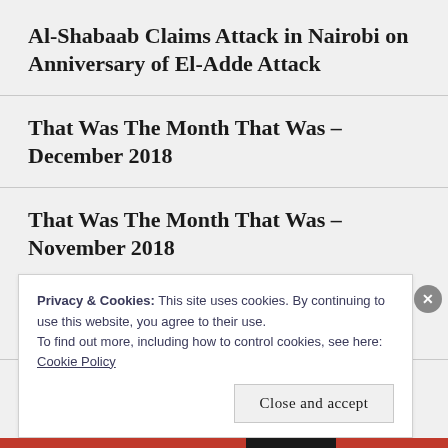Al-Shabaab Claims Attack in Nairobi on Anniversary of El-Adde Attack
That Was The Month That Was – December 2018
That Was The Month That Was – November 2018
Privacy & Cookies: This site uses cookies. By continuing to use this website, you agree to their use.
To find out more, including how to control cookies, see here: Cookie Policy
Close and accept